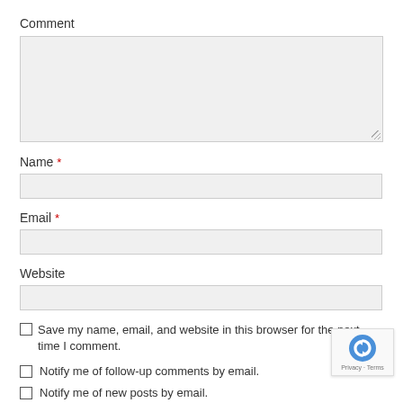Comment
[Figure (screenshot): Comment textarea input box with light gray background and resize handle]
Name *
[Figure (screenshot): Name text input field with light gray background]
Email *
[Figure (screenshot): Email text input field with light gray background]
Website
[Figure (screenshot): Website text input field with light gray background]
Save my name, email, and website in this browser for the next time I comment.
Notify me of follow-up comments by email.
Notify me of new posts by email.